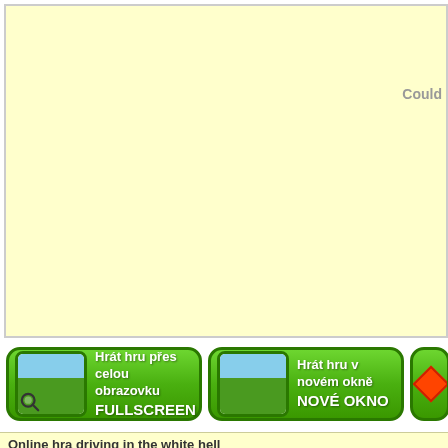[Figure (screenshot): Large light yellow rectangular area, likely a game embed or ad placeholder area with faint text 'Could' visible at right side]
[Figure (screenshot): Green button: Hrát hru přes celou obrazovku FULLSCREEN with landscape thumbnail icon]
[Figure (screenshot): Green button: Hrát hru v novém okně NOVÉ OKNO with landscape thumbnail icon]
[Figure (screenshot): Partial green button with red diamond icon visible at right edge]
Online hra driving in the white hell